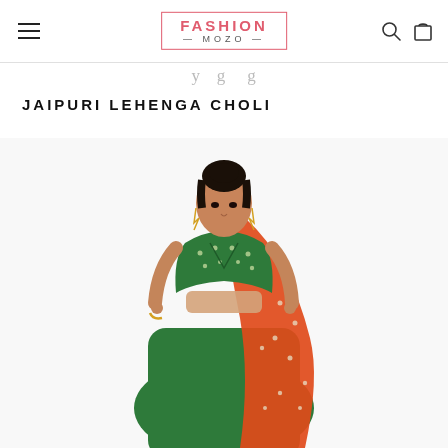FASHION MOZO
JAIPURI LEHENGA CHOLI
[Figure (photo): A woman wearing a green and orange sequined lehenga choli (Indian ethnic dress), consisting of a green sequined blouse and a green and orange embellished saree/lehenga with silver embroidery details. The model is standing against a white background.]